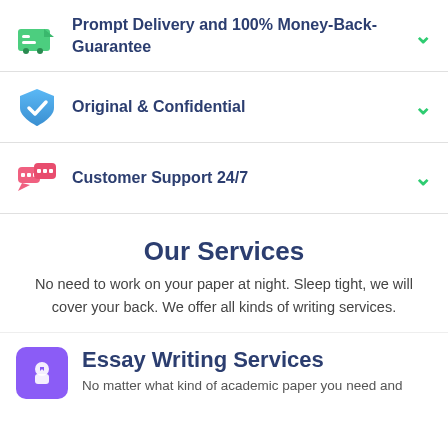Prompt Delivery and 100% Money-Back-Guarantee
Original & Confidential
Customer Support 24/7
Our Services
No need to work on your paper at night. Sleep tight, we will cover your back. We offer all kinds of writing services.
Essay Writing Services
No matter what kind of academic paper you need and